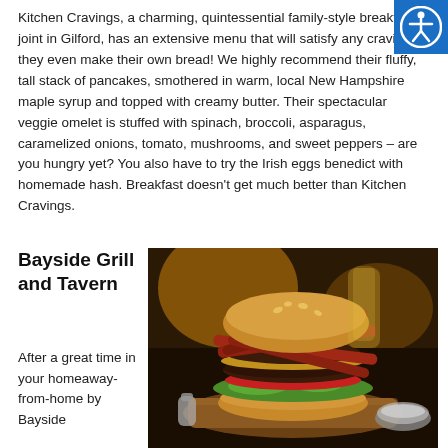Kitchen Cravings, a charming, quintessential family-style breakfast joint in Gilford, has an extensive menu that will satisfy any craving – they even make their own bread! We highly recommend their fluffy, tall stack of pancakes, smothered in warm, local New Hampshire maple syrup and topped with creamy butter. Their spectacular veggie omelet is stuffed with spinach, broccoli, asparagus, caramelized onions, tomato, mushrooms, and sweet peppers – are you hungry yet? You also have to try the Irish eggs benedict with homemade hash. Breakfast doesn't get much better than Kitchen Cravings.
[Figure (other): Accessibility icon — white person figure in circle on blue background]
Bayside Grill and Tavern
[Figure (photo): A large gourmet burger stacked with bacon strips, lettuce, tomato on a wooden board, with condiments and glasses in background.]
After a great time in your home-away-from-home by Bayside